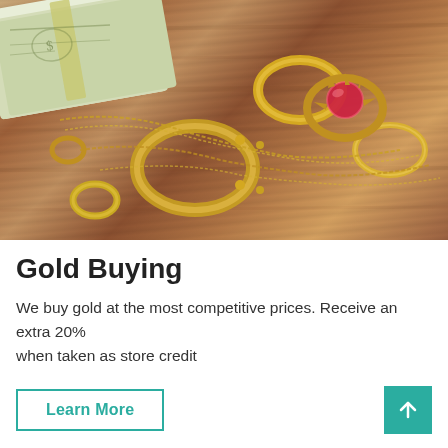[Figure (photo): Photo of gold jewelry — rings, chains, and a red gemstone piece — scattered on a wooden table next to a rolled bundle of US dollar bills.]
Gold Buying
We buy gold at the most competitive prices. Receive an extra 20% when taken as store credit
Learn More
[Figure (other): Teal up-arrow navigation button]